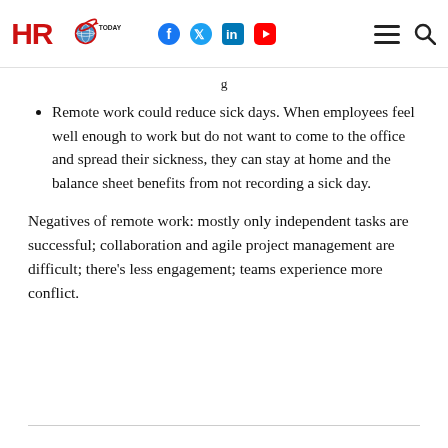HRO Today
Remote work could reduce sick days. When employees feel well enough to work but do not want to come to the office and spread their sickness, they can stay at home and the balance sheet benefits from not recording a sick day.
Negatives of remote work: mostly only independent tasks are successful; collaboration and agile project management are difficult; there’s less engagement; teams experience more conflict.